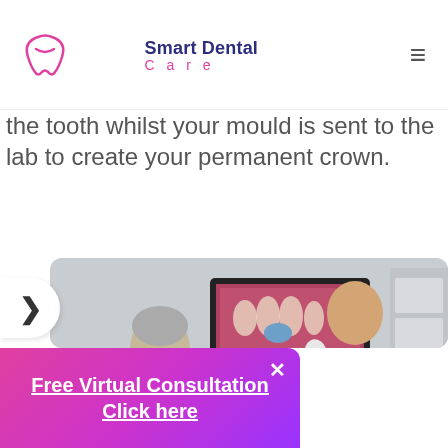Smart Dental Care
the tooth whilst your mould is sent to the lab to create your permanent crown.
[Figure (photo): A dentist in a white coat and blue gloves pointing to a dental X-ray displayed on a monitor screen, while an elderly patient with glasses sits and looks at the screen. A dental office setting.]
Free Virtual Consultation Click here